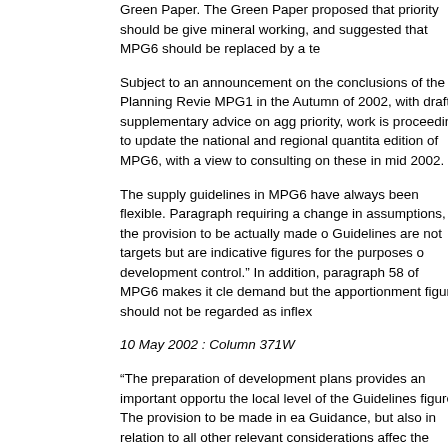Green Paper. The Green Paper proposed that priority should be given to mineral working, and suggested that MPG6 should be replaced by a te
Subject to an announcement on the conclusions of the Planning Review MPG1 in the Autumn of 2002, with draft supplementary advice on agg priority, work is proceeding to update the national and regional quantita edition of MPG6, with a view to consulting on these in mid 2002.
The supply guidelines in MPG6 have always been flexible. Paragraph requiring a change in assumptions, the provision to be actually made Guidelines are not targets but are indicative figures for the purposes of development control.” In addition, paragraph 58 of MPG6 makes it cle demand but the apportionment figure should not be regarded as inflex
10 May 2002 : Column 371W
“The preparation of development plans provides an important opportu the local level of the Guidelines figure. The provision to be made in ea Guidance, but also in relation to all other relevant considerations affec the regional guidelines should always be subject to local review and u publication of revised forecasts and guidelines will provide a good opp mineral development plans.
Mr. Tyrie: To ask the Secretary of State for Transport, Local Governme Sussex County Council on the provision of new aggregate sites at (a)
Ms Keeble: No such discussions have taken place.
Mr. Tyrie: To ask the Secretary of State for Transport, Local Governme guidance and mineral planning guidance notes issued by his Departme
Ms Keeble: Planning Policy guidance and minerals planning guidance